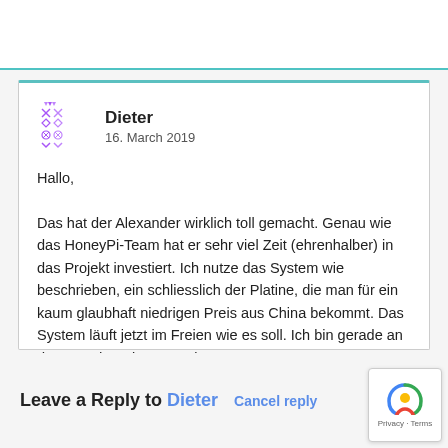Dieter
16. March 2019
Hallo,
Das hat der Alexander wirklich toll gemacht. Genau wie das HoneyPi-Team hat er sehr viel Zeit (ehrenhalber) in das Projekt investiert. Ich nutze das System wie beschrieben, ein schliesslich der Platine, die man für ein kaum glaubhaft niedrigen Preis aus China bekommt. Das System läuft jetzt im Freien wie es soll. Ich bin gerade an der 2. und 3. Bienenstockwaage.
Reply ↓
Leave a Reply to Dieter   Cancel reply